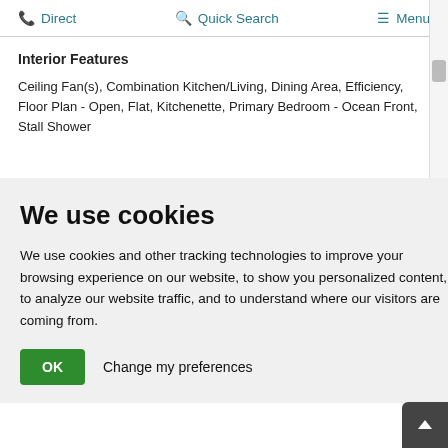Direct   Quick Search   Menu
Interior Features
Ceiling Fan(s), Combination Kitchen/Living, Dining Area, Efficiency, Floor Plan - Open, Flat, Kitchenette, Primary Bedroom - Ocean Front, Stall Shower
We use cookies
We use cookies and other tracking technologies to improve your browsing experience on our website, to show you personalized content, to analyze our website traffic, and to understand where our visitors are coming from.
OK   Change my preferences